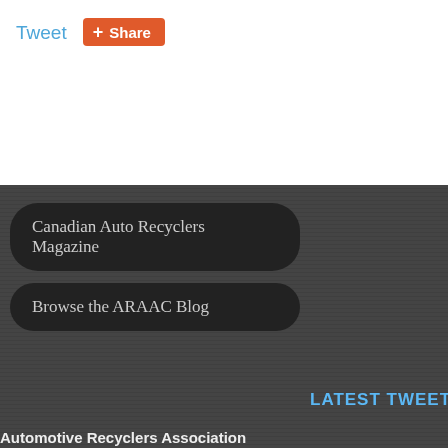Tweet
Share
LATEST TWEETS
Canadian Auto Recyclers Magazine
Browse the ARAAC Blog
[Figure (illustration): Social media icons: Facebook, Twitter, YouTube, RSS feed]
[Figure (logo): Automotive Recyclers Association logo with green recycling arrows and car silhouette]
Automotive Recyclers Association